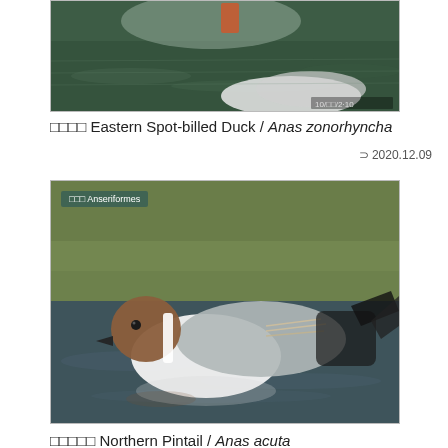[Figure (photo): Eastern Spot-billed Duck swimming on water, partial top crop view showing water surface and bird body]
□□□□ Eastern Spot-billed Duck / Anas zonorhyncha
⊃ 2020.12.09
[Figure (photo): Northern Pintail duck swimming on water with green vegetation in background, badge reading '□□□ Anseriformes' in top-left corner]
□□□□□ Northern Pintail / Anas acuta